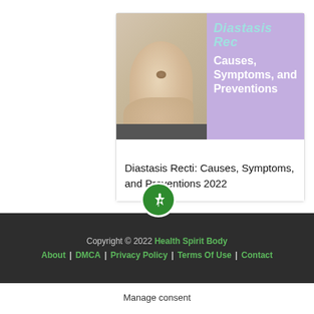[Figure (illustration): Card with two halves: left shows a close-up photo of an abdomen being held/pinched (monochrome/sepia tone), right shows a purple background with 'Diastasis Rec' in teal italic bold and 'Causes, Symptoms, and Preventions' in white bold. A green pin icon circle overlaps the bottom of the image.]
Diastasis Recti: Causes, Symptoms, and Preventions 2022
Copyright © 2022 Health Spirit Body | About | DMCA | Privacy Policy | Terms Of Use | Contact
Manage consent